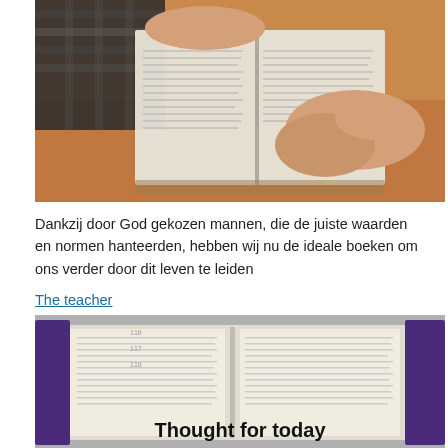[Figure (photo): Hands of a person reading an open book (Bible) on a wooden table, wearing a plaid shirt]
Dankzij door God gekozen mannen, die de juiste waarden en normen hanteerden, hebben wij nu de ideale boeken om ons verder door dit leven te leiden
The teacher
[Figure (photo): Open Bible with purple cover on a gray background, with text overlay reading 'Thought for today']